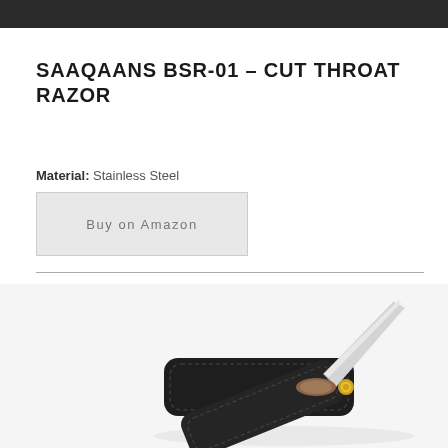SAAQAANS BSR-01 – CUT THROAT RAZOR
Material: Stainless Steel
Buy on Amazon
[Figure (photo): Product photo of the SAAQAANS BSR-01 cut throat razor showing black handle/scales with gold screw pin and silver blade partially open against white background]